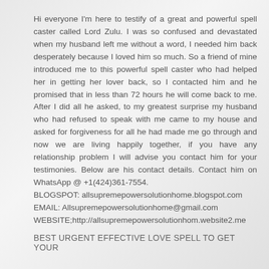Hi everyone I'm here to testify of a great and powerful spell caster called Lord Zulu. I was so confused and devastated when my husband left me without a word, I needed him back desperately because I loved him so much. So a friend of mine introduced me to this powerful spell caster who had helped her in getting her lover back, so I contacted him and he promised that in less than 72 hours he will come back to me. After I did all he asked, to my greatest surprise my husband who had refused to speak with me came to my house and asked for forgiveness for all he had made me go through and now we are living happily together, if you have any relationship problem I will advise you contact him for your testimonies. Below are his contact details. Contact him on WhatsApp @ +1(424)361-7554.
BLOGSPOT: allsupremepowersolutionhome.blogspot.com
EMAIL: Allsupremepowersolutionhome@gmail.com
WEBSITE;http://allsupremepowersolutionhom.website2.me
BEST URGENT EFFECTIVE LOVE SPELL TO GET YOUR